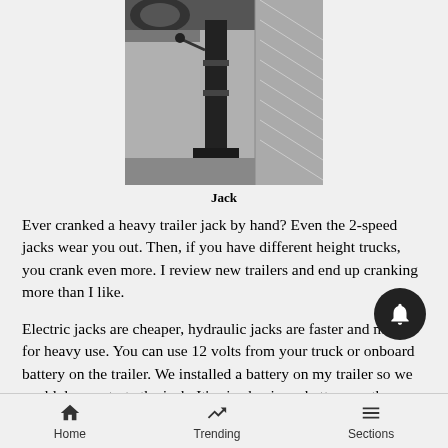[Figure (photo): Black and white photo of a trailer jack standing on the ground next to a trailer]
Jack
Ever cranked a heavy trailer jack by hand? Even the 2-speed jacks wear you out. Then, if you have different height trucks, you crank even more. I review new trailers and end up cranking more than I like.
Electric jacks are cheaper, hydraulic jacks are faster and made for heavy use. You can use 12 volts from your truck or onboard battery on the trailer. We installed a battery on my trailer so we could demonstrate the jack. It’s nice having a battery on the
Home   Trending   Sections